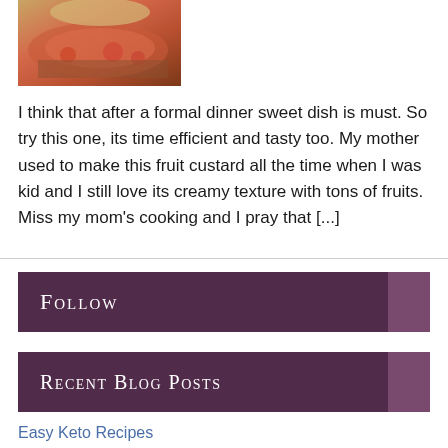[Figure (photo): A food photo showing a fruit custard or dessert dish with reddish-orange filling, partially visible at top of page]
I think that after a formal dinner sweet dish is must. So try this one, its time efficient and tasty too. My mother used to make this fruit custard all the time when I was kid and I still love its creamy texture with tons of fruits. Miss my mom's cooking and I pray that [...]
Follow
Recent Blog Posts
Easy Keto Recipes
Almond Joy Truffles